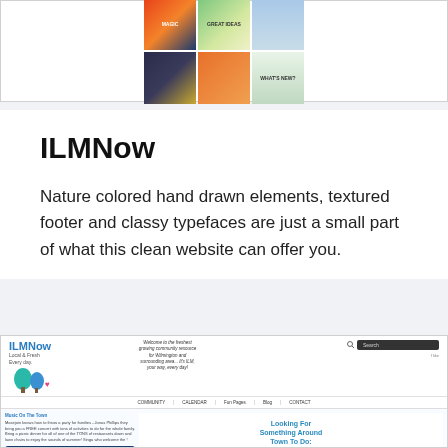[Figure (photo): Grid of book covers: 2 rows x 3 columns showing various book covers including one titled MAGIC, one with GREAT IDEAS, and others with colorful designs]
ILMNow
Nature colored hand drawn elements, textured footer and classy typefaces are just a small part of what this clean website can offer you.
[Figure (screenshot): Screenshot of the ILMNow website showing the homepage with logo, decorative trees, a sun illustration, welcome text about being a community resource for Wilmington and surrounding area, navigation menu (COMMUNITY, CALENDAR, Fun Pages, Blog, CONTACT), a Music On The Town event feature with MUSIC ON TOWN 2014 banner, a Looking For Something Around Town To Do section, and an Upcoming Events calendar showing event on the 17th]